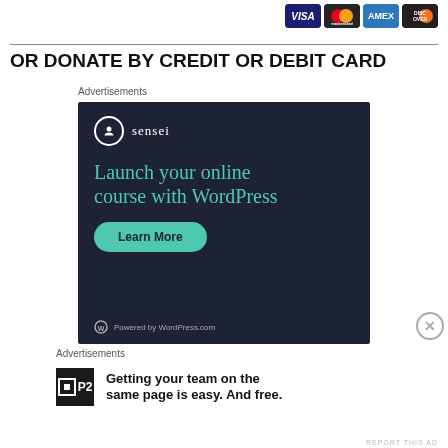[Figure (logo): Credit card logos: Visa, Mastercard, AMEX, Discover]
OR DONATE BY CREDIT OR DEBIT CARD
Advertisements
[Figure (illustration): Sensei advertisement: Launch your online course with WordPress. Learn More button. Powered by WordPress.com.]
Advertisements
[Figure (illustration): P2 advertisement: Getting your team on the same page is easy. And free.]